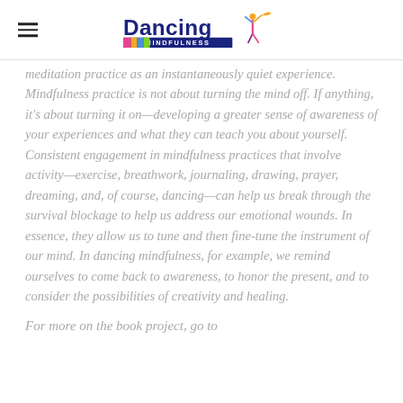Dancing Mindfulness [logo]
meditation practice as an instantaneously quiet experience. Mindfulness practice is not about turning the mind off. If anything, it's about turning it on—developing a greater sense of awareness of your experiences and what they can teach you about yourself. Consistent engagement in mindfulness practices that involve activity—exercise, breathwork, journaling, drawing, prayer, dreaming, and, of course, dancing—can help us break through the survival blockage to help us address our emotional wounds. In essence, they allow us to tune and then fine-tune the instrument of our mind. In dancing mindfulness, for example, we remind ourselves to come back to awareness, to honor the present, and to consider the possibilities of creativity and healing.
For more on the book project, go to